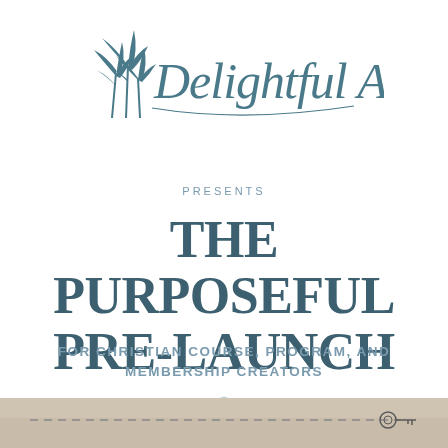[Figure (logo): Delightful Ads logo with palm trees and cursive script text]
PRESENTS
THE PURPOSEFUL PRE-LAUNCH
FOR CHRISTIAN COURSE, PROGRAM, AND MEMBERSHIP CREATORS
[Figure (photo): Bottom portion showing a dashed line with a key, suggesting a map or treasure hunt theme]